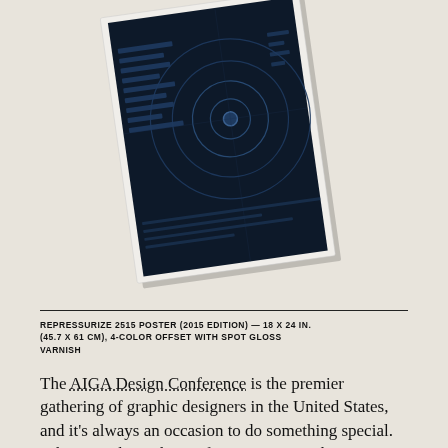[Figure (photo): A dark navy/black poster tilted at an angle showing radar/sonar concentric circles and horizontal bar elements on a dark background, with a white border, photographed against a light beige background.]
REPRESSURIZE 2515 POSTER (2015 EDITION) — 18 X 24 IN. (45.7 X 61 CM), 4-COLOR OFFSET WITH SPOT GLOSS VARNISH
The AIGA Design Conference is the premier gathering of graphic designers in the United States, and it's always an occasion to do something special. When I spoke at the conference in Memphis in 2009, I created an elaborate animated introduction and invited a Daily Monster to talk with me live on stage. Six years later, AIGA's executive director Ric Grefé